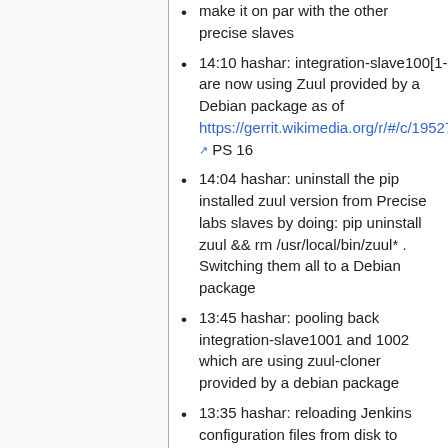make it on par with the other precise slaves
14:10 hashar: integration-slave100[1-4] are now using Zuul provided by a Debian package as of https://gerrit.wikimedia.org/r/#/c/195272/ PS 16
14:04 hashar: uninstall the pip installed zuul version from Precise labs slaves by doing: pip uninstall zuul && rm /usr/local/bin/zuul* . Switching them all to a Debian package
13:45 hashar: pooling back integration-slave1001 and 1002 which are using zuul-cloner provided by a debian package
13:35 hashar: reloading Jenkins configuration files from disk to make it knows about a change manually